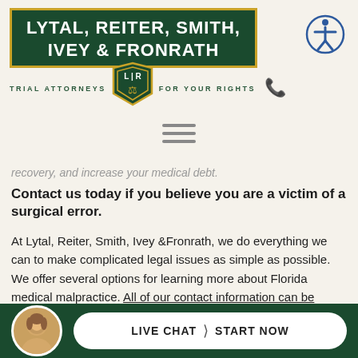[Figure (logo): Lytal, Reiter, Smith, Ivey & Fronrath law firm logo with dark green box, gold border, shield emblem, and tagline 'Trial Attorneys for Your Rights']
[Figure (other): Hamburger/menu icon with three horizontal lines]
recovery, and increase your medical debt.
Contact us today if you believe you are a victim of a surgical error.
At Lytal, Reiter, Smith, Ivey &Fronrath, we do everything we can to make complicated legal issues as simple as possible. We offer several options for learning more about Florida medical malpractice. All of our contact information can be found FREE...
[Figure (other): Bottom bar with avatar photo of a woman, and a 'Live Chat / Start Now' button on dark green background]